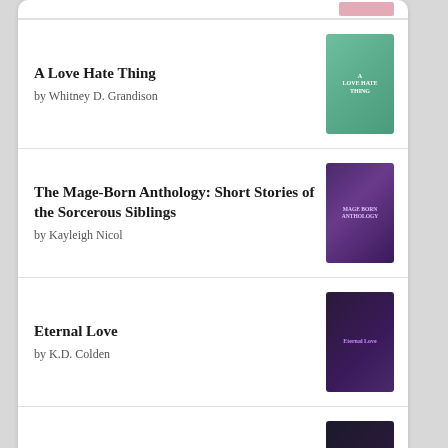A Love Hate Thing by Whitney D. Grandison
The Mage-Born Anthology: Short Stories of the Sorcerous Siblings by Kayleigh Nicol
Eternal Love by K.D. Colden
Unchaining You by Vic Tyler
[Figure (logo): Goodreads logo button with rounded rectangle border]